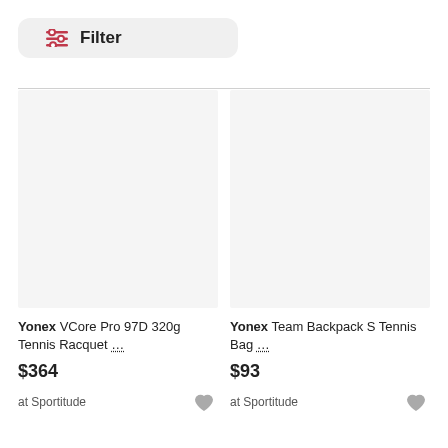Filter
[Figure (screenshot): Product image placeholder (light gray rectangle) for Yonex VCore Pro 97D 320g Tennis Racquet]
Yonex VCore Pro 97D 320g Tennis Racquet ...
$364
at Sportitude
[Figure (screenshot): Product image placeholder (light gray rectangle) for Yonex Team Backpack S Tennis Bag]
Yonex Team Backpack S Tennis Bag ...
$93
at Sportitude